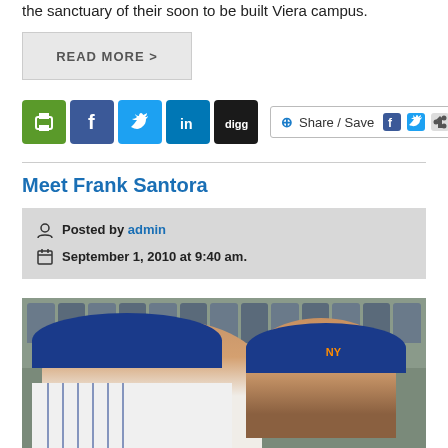the sanctuary of their soon to be built Viera campus.
READ MORE >
[Figure (other): Social media sharing icons: print (green), Facebook (blue), Twitter (light blue), LinkedIn (dark blue), Digg (black), and a Share/Save button with Facebook and Twitter icons]
Meet Frank Santora
Posted by admin
September 1, 2010 at 9:40 am.
[Figure (photo): Photo of two people (an adult and a child) at a baseball stadium, both wearing baseball caps. The adult is wearing a pinstripe jersey.]